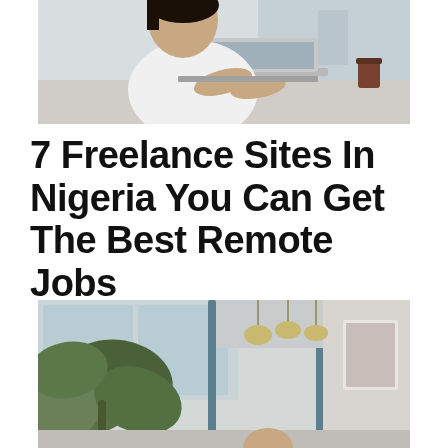[Figure (photo): A woman sitting at a table working on a laptop computer, with a coffee cup visible in the background. Modern office or café setting.]
7 Freelance Sites In Nigeria You Can Get The Best Remote Jobs
[Figure (photo): Interior of a modern office or café space with large plants, pendant lights hanging from ceiling, glass partition walls, and a framed artwork on the wall.]